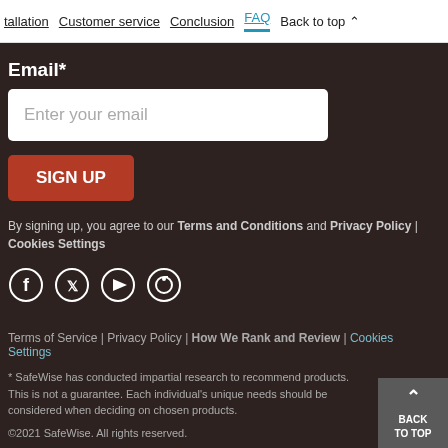tallation  Customer service  Conclusion  FAQ  Back to top
Email*
Enter your email
SIGN UP
By signing up, you agree to our Terms and Conditions and Privacy Policy | Cookies Settings
[Figure (illustration): Social media icons: Facebook, Twitter, YouTube, Pinterest in circular white outlines on dark background]
Terms of Service | Privacy Policy | How We Rank and Review | Cookies Settings
* SafeWise has conducted impartial research to recommend products. This is not a guarantee. Each individual's unique needs should be considered when deciding on chosen products.
©2021 SafeWise. All rights reserved.